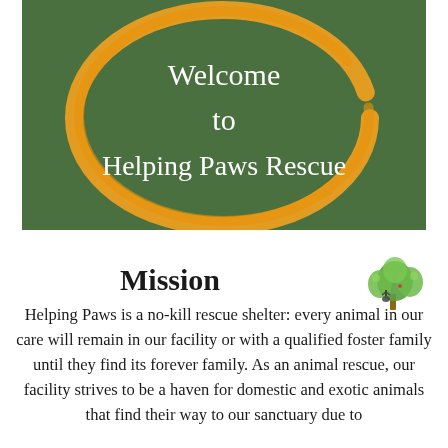[Figure (illustration): Dark green rectangular banner with a large hand-drawn orange circle in the center. White text reads 'Welcome to Helping Paws Rescue' centered within the circle.]
Mission
[Figure (illustration): Small decorative tree/person illustration with green leaves, positioned to the right of the Mission heading.]
Helping Paws is a no-kill rescue shelter: every animal in our care will remain in our facility or with a qualified foster family until they find its forever family. As an animal rescue, our facility strives to be a haven for domestic and exotic animals that find their way to our sanctuary due to